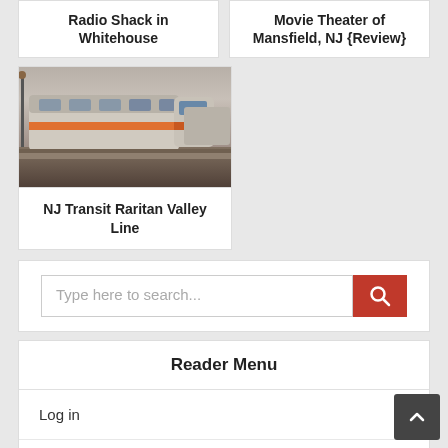Radio Shack in Whitehouse
Movie Theater of Mansfield, NJ {Review}
[Figure (photo): Photo of NJ Transit train at a station platform, taken at dusk or dawn with warm lighting]
NJ Transit Raritan Valley Line
[Figure (screenshot): Search bar with placeholder text 'Type here to search...' and a red search button with magnifying glass icon]
Reader Menu
Log in
Advertiser Disclosure